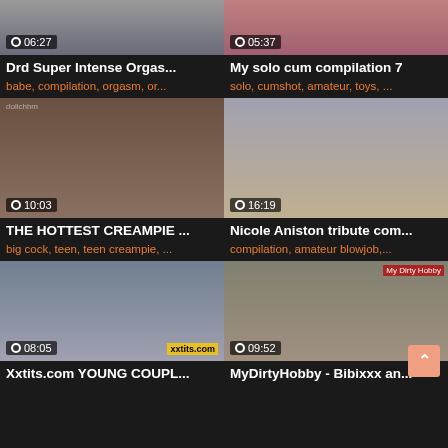[Figure (screenshot): Video thumbnail grid showing 6 adult video thumbnails with titles, tags, and durations]
Drd Super Intense Orgas...
babe, compilation, orgasm, or...
My solo cum compilation 7
solo, cumshot, amateur, toys, ...
THE HOTTEST CREAMPIE ...
big cock, teen, teen creampie, ...
Nicole Aniston tribute com...
compilation, amateur blowjob,...
Xxtits.com YOUNG COUPL...
MyDirtyHobby - Bibixxx an...